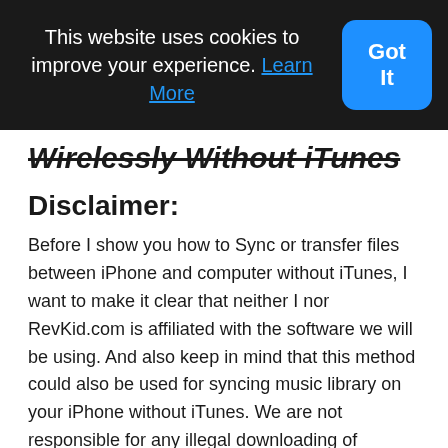This website uses cookies to improve your experience. Learn More
Got It
Wirelessly Without iTunes
Disclaimer:
Before I show you how to Sync or transfer files between iPhone and computer without iTunes, I want to make it clear that neither I nor RevKid.com is affiliated with the software we will be using. And also keep in mind that this method could also be used for syncing music library on your iPhone without iTunes. We are not responsible for any illegal downloading of copyrighted material. Piracy is not aa crime without consequences. This tutorial is for educational